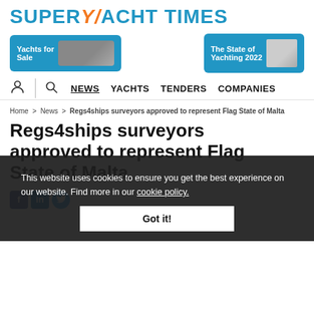SUPERY/ACHT TIMES
[Figure (screenshot): Two banner ads: 'Yachts for Sale' with yacht image, and 'The State of Yachting 2022' with book image]
NEWS  YACHTS  TENDERS  COMPANIES
Home > News > Regs4ships surveyors approved to represent Flag State of Malta
Regs4ships surveyors approved to represent Flag State of Malta
This website uses cookies to ensure you get the best experience on our website. Find more in our cookie policy.
Got it!